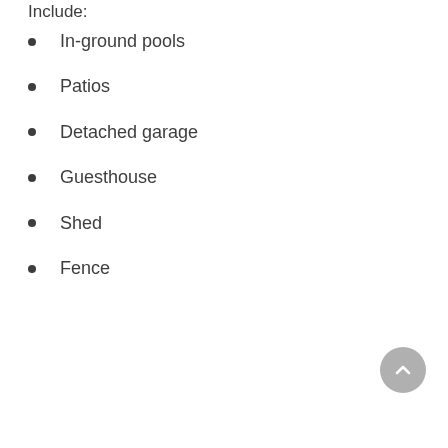Include:
In-ground pools
Patios
Detached garage
Guesthouse
Shed
Fence